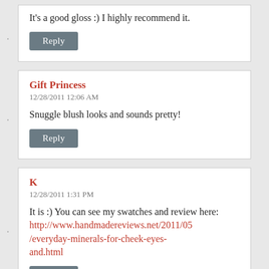It's a good gloss :) I highly recommend it.
Reply
Gift Princess
12/28/2011 12:06 AM
Snuggle blush looks and sounds pretty!
Reply
K
12/28/2011 1:31 PM
It is :) You can see my swatches and review here: http://www.handmadereviews.net/2011/05/everyday-minerals-for-cheek-eyes-and.html
Reply